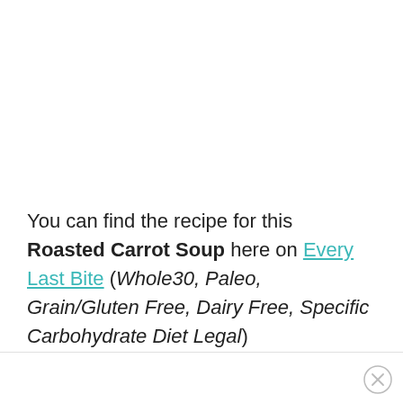You can find the recipe for this Roasted Carrot Soup here on Every Last Bite (Whole30, Paleo, Grain/Gluten Free, Dairy Free, Specific Carbohydrate Diet Legal)